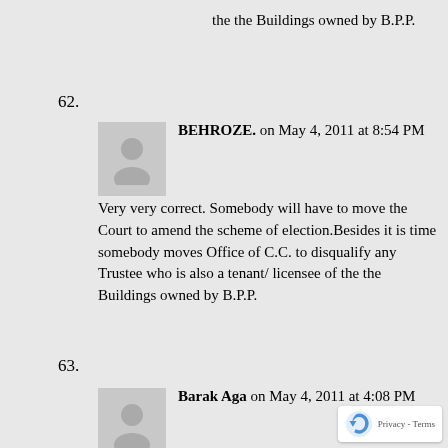the the Buildings owned by B.P.P.
62.
BEHROZE. on May 4, 2011 at 8:54 PM
Very very correct. Somebody will have to move the Court to amend the scheme of election.Besides it is time somebody moves Office of C.C. to disqualify any Trustee who is also a tenant/ licensee of the the Buildings owned by B.P.P.
63.
Barak Aga on May 4, 2011 at 4:08 PM
It is best that the BPP is taken over by t State Government.